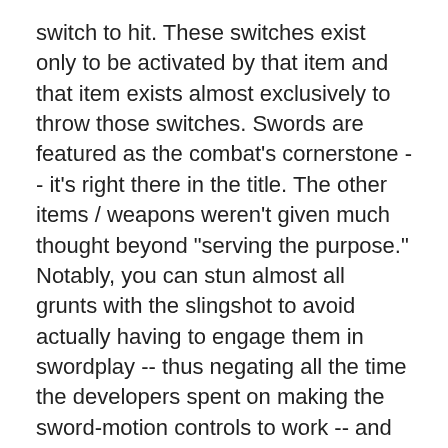switch to hit. These switches exist only to be activated by that item and that item exists almost exclusively to throw those switches. Swords are featured as the combat's cornerstone -- it's right there in the title. The other items / weapons weren't given much thought beyond "serving the purpose." Notably, you can stun almost all grunts with the slingshot to avoid actually having to engage them in swordplay -- thus negating all the time the developers spent on making the sword-motion controls to work -- and even the most corpulent heavy-enemies can be sniped with the easily-upgraded bow. Solutions are entirely obvious and the equipment's significance is drained, making their inclusion feel like a forced holiday tradition at your uncle's house. They're interesting to use in the way that experimenting with your friend's turntables and DJ equipment is interesting -- you noodle around, try some obvious sounds, and maybe feel genuinely satisfied, but you would never be able to say that you've accomplished something with all those knobs